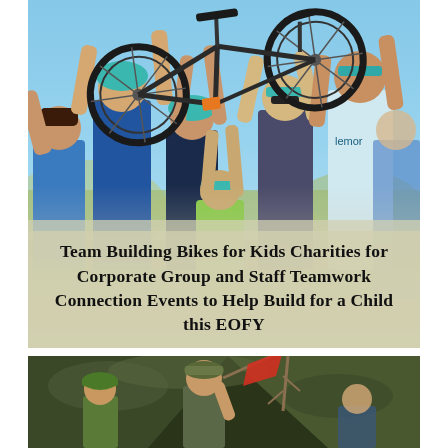[Figure (photo): Group of adults and children outdoors holding a bicycle overhead with arms raised, wearing teal/blue helmets and casual clothing against a blue sky background. Text overlay reads: Team Building Bikes for Kids Charities for Corporate Group and Staff Teamwork Connection Events to Help Build for a Child this EOFY]
Team Building Bikes for Kids Charities for Corporate Group and Staff Teamwork Connection Events to Help Build for a Child this EOFY
[Figure (photo): Outdoor scene with people on a hillside or sloped terrain, one person wearing a camouflage cap holding what appears to be a red flag or cloth, with dark earthy/rocky background]